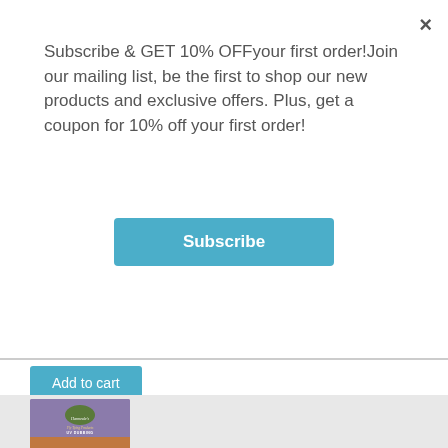Subscribe & GET 10% OFFyour first order!Join our mailing list, be the first to shop our new products and exclusive offers. Plus, get a coupon for 10% off your first order!
Subscribe
- 0 +
Add to cart
[Figure (photo): Product image showing Hareline UV Dubbing in Orange Fox color, with a purple/blue label at top and orange fur material visible below]
SKU: 101-010210-13
Color: Orange Fox